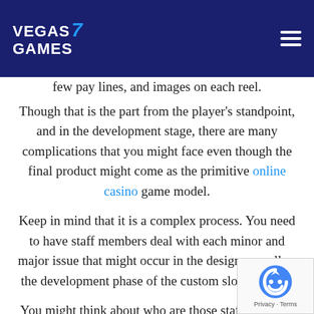VEGAS 7 GAMES
few pay lines, and images on each reel.
Though that is the part from the player's standpoint, and in the development stage, there are many complications that you might face even though the final product might come as the primitive online casino game model.
Keep in mind that it is a complex process. You need to have staff members deal with each minor and major issue that might occur in the design as well as the development phase of the custom slot machine.
You might think about who are those staff members and which tasks will you assign them? Mainly, when designing a slot machine game from scratch, you need